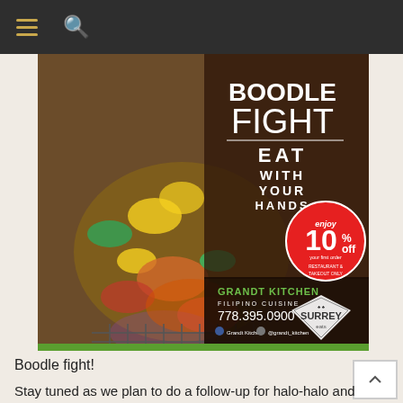Navigation header with hamburger menu and search icon
[Figure (photo): Restaurant advertisement poster for Grandt Kitchen Filipino Cuisine showing a Boodle Fight spread — seafood, corn, vegetables laid on banana leaves. Text reads: BOODLE FIGHT EAT WITH YOUR HANDS. enjoy 10% off your first order. GRANDT KITCHEN FILIPINO CUISINE 778.395.0900. Surrey Eats logo diamond at bottom right.]
Boodle fight!
Stay tuned as we plan to do a follow-up for halo-halo and